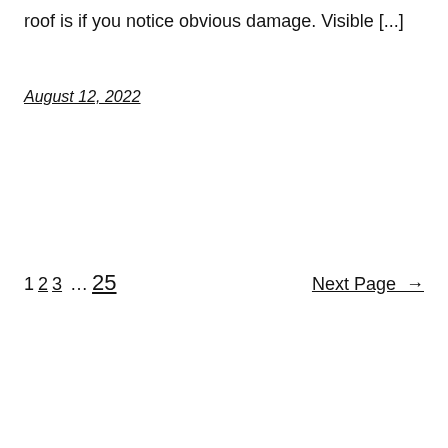roof is if you notice obvious damage. Visible [...]
August 12, 2022
1 2 3 … 25   Next Page →